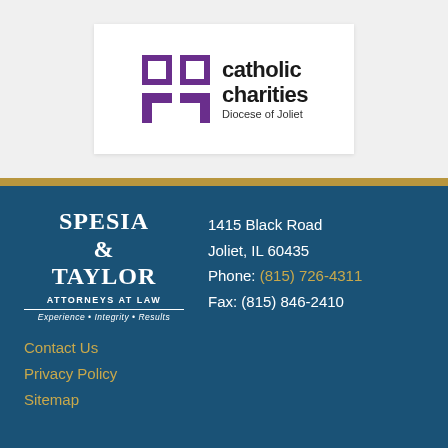[Figure (logo): Catholic Charities Diocese of Joliet logo — purple cross/bracket icon with text 'catholic charities Diocese of Joliet']
[Figure (logo): Spesia & Taylor Attorneys at Law logo with tagline 'Experience · Integrity · Results']
1415 Black Road
Joliet, IL 60435
Phone: (815) 726-4311
Fax: (815) 846-2410
Contact Us
Privacy Policy
Sitemap